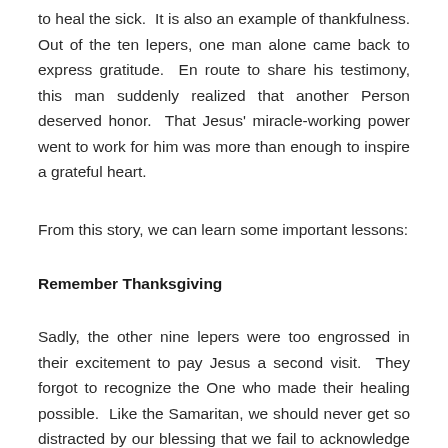to heal the sick. It is also an example of thankfulness. Out of the ten lepers, one man alone came back to express gratitude. En route to share his testimony, this man suddenly realized that another Person deserved honor. That Jesus' miracle-working power went to work for him was more than enough to inspire a grateful heart.
From this story, we can learn some important lessons:
Remember Thanksgiving
Sadly, the other nine lepers were too engrossed in their excitement to pay Jesus a second visit. They forgot to recognize the One who made their healing possible. Like the Samaritan, we should never get so distracted by our blessing that we fail to acknowledge the Source. For us